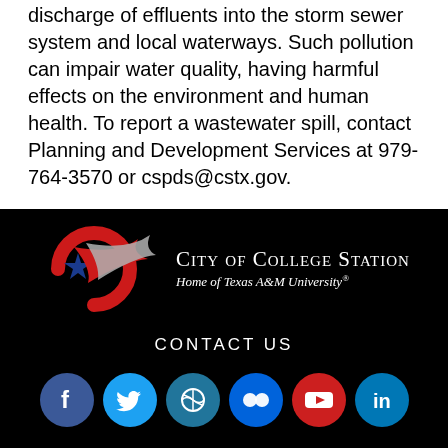discharge of effluents into the storm sewer system and local waterways. Such pollution can impair water quality, having harmful effects on the environment and human health. To report a wastewater spill, contact Planning and Development Services at 979-764-3570 or cspds@cstx.gov.
[Figure (logo): City of College Station logo with red circular swoosh, blue star, red and gray ribbon banner, and text 'City of College Station, Home of Texas A&M University']
CONTACT US
[Figure (infographic): Row of six social media icon circles: Facebook (blue), Twitter (light blue), WordPress (teal), Flickr (blue), YouTube (red), LinkedIn (blue)]